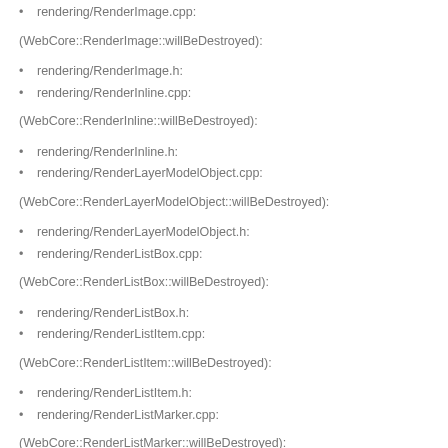rendering/RenderImage.cpp:
(WebCore::RenderImage::willBeDestroyed):
rendering/RenderImage.h:
rendering/RenderInline.cpp:
(WebCore::RenderInline::willBeDestroyed):
rendering/RenderInline.h:
rendering/RenderLayerModelObject.cpp:
(WebCore::RenderLayerModelObject::willBeDestroyed):
rendering/RenderLayerModelObject.h:
rendering/RenderListBox.cpp:
(WebCore::RenderListBox::willBeDestroyed):
rendering/RenderListBox.h:
rendering/RenderListItem.cpp:
(WebCore::RenderListItem::willBeDestroyed):
rendering/RenderListItem.h:
rendering/RenderListMarker.cpp:
(WebCore::RenderListMarker::willBeDestroyed):
rendering/RenderListMarker.h:
rendering/RenderMenuList.cpp: